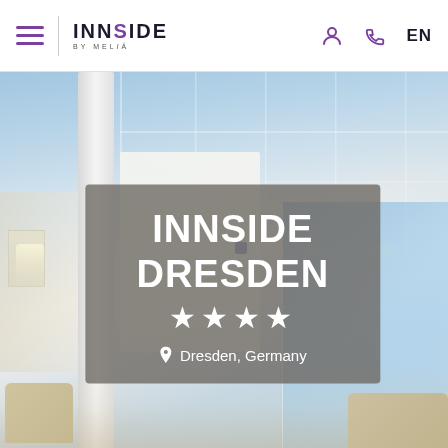INNSIDE BY MELIÁ — EN
[Figure (photo): Interior lobby of INNSIDE Dresden hotel showing modern architecture with glass panels, white columns, and lobby seating area in blue and neutral tones]
INNSIDE DRESDEN
★★★★
Dresden, Germany